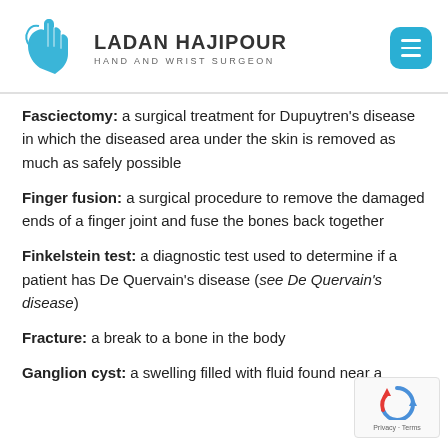[Figure (logo): Ladan Hajipour Hand and Wrist Surgeon logo with blue hand icon]
Fasciectomy: a surgical treatment for Dupuytren's disease in which the diseased area under the skin is removed as much as safely possible
Finger fusion: a surgical procedure to remove the damaged ends of a finger joint and fuse the bones back together
Finkelstein test: a diagnostic test used to determine if a patient has De Quervain's disease (see De Quervain's disease)
Fracture: a break to a bone in the body
Ganglion cyst: a swelling filled with fluid found near a